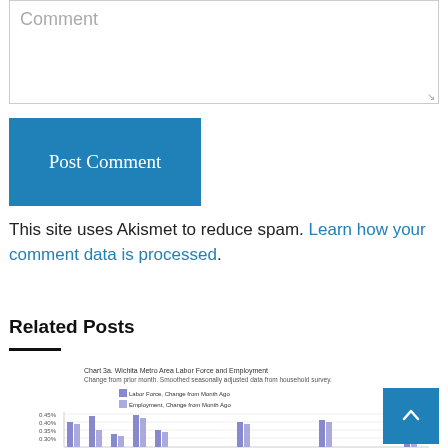Comment
Post Comment
This site uses Akismet to reduce spam. Learn how your comment data is processed.
Related Posts
[Figure (bar-chart): Bar chart showing Labor Force and Employment change from month ago, with y-axis from 0.30% to 0.45%]